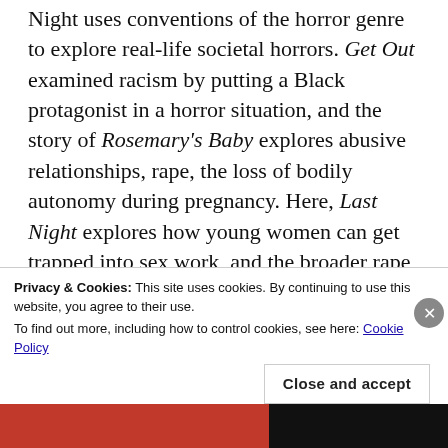Night uses conventions of the horror genre to explore real-life societal horrors. Get Out examined racism by putting a Black protagonist in a horror situation, and the story of Rosemary's Baby explores abusive relationships, rape, the loss of bodily autonomy during pregnancy. Here, Last Night explores how young women can get trapped into sex work, and the broader rape culture we live in, seen through the eyes of its two female protagonists. The movie is also remarkable in the way it captures the feeling of being a young woman from a small town who has just moved into a seedy big city, and the paranoia that can come
Privacy & Cookies: This site uses cookies. By continuing to use this website, you agree to their use.
To find out more, including how to control cookies, see here: Cookie Policy
Close and accept